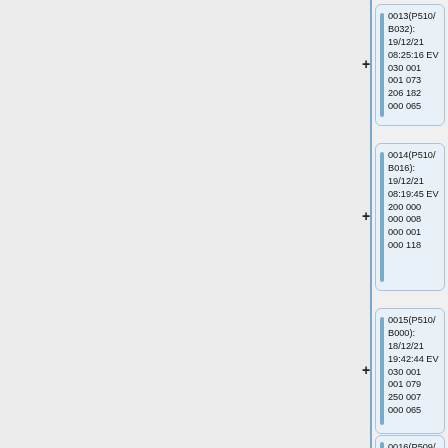0013(P510/B032): 19/12/21 08:25:16 EV 030 001 001 073 206 182 000 065
0014(P510/B016): 19/12/21 08:19:45 EV 200 000 000 008 000 001 000 118
0015(P510/B000): 18/12/21 19:42:44 EV 030 001 001 079 250 007 000 065
0016(P509/B240): 18/12/21